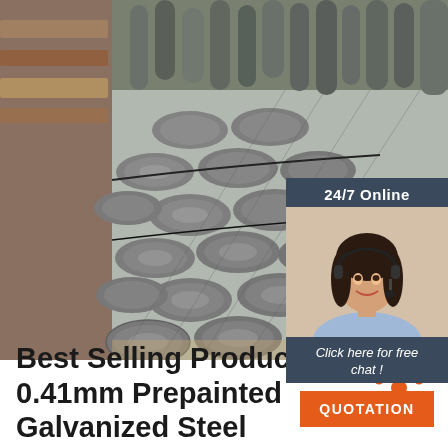[Figure (photo): Stack of gray steel round bars/rods piled together, industrial setting with more steel in background]
[Figure (photo): Customer service representative woman wearing headset, smiling, with '24/7 Online' banner and 'Click here for free chat!' text and orange QUOTATION button on dark navy sidebar]
[Figure (infographic): Orange TOP icon with person/arc symbol above the word TOP in orange on white background]
Best Selling Products 0.41mm Prepainted Galvanized Steel